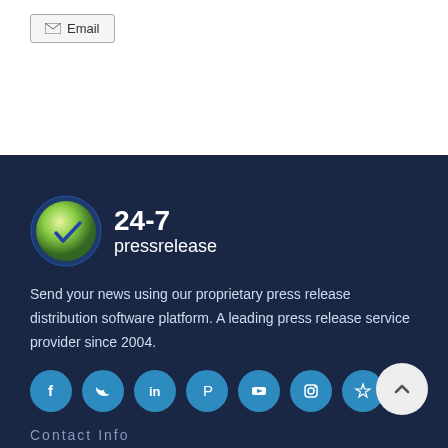Email
[Figure (logo): 24-7 pressrelease logo with clock icon and white text]
Send your news using our proprietary press release distribution software platform. A leading press release service provider since 2004.
[Figure (other): Social media icon buttons: Facebook, Twitter, LinkedIn, Pinterest, YouTube, Instagram, and one more]
Contact Info